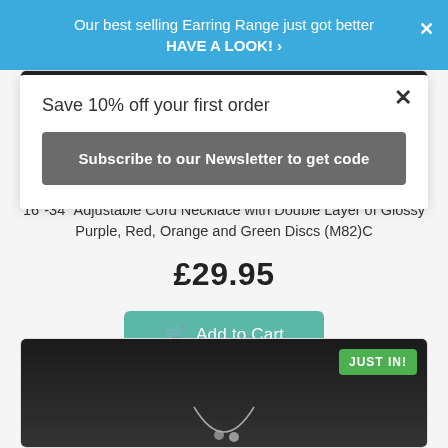Our best selling Earring Range just got better HAVE A LOOK! ›
Save 10% off your first order
Subscribe to our Newsletter to get code
16"-34" Adjustable Cord Necklace with Double Layer of Glossy Purple, Red, Orange and Green Discs (M82)C
£29.95
Add to Cart
[Figure (screenshot): Bottom portion of an e-commerce product listing page showing a black background product image card with a JUST IN! green badge.]